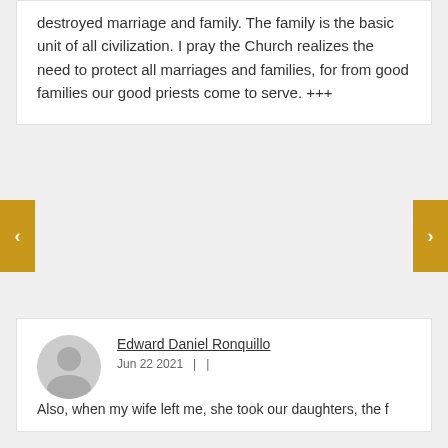destroyed marriage and family. The family is the basic unit of all civilization. I pray the Church realizes the need to protect all marriages and families, for from good families our good priests come to serve. +++
Edward Daniel Ronquillo
Jun 22 2021  |   |
Also, when my wife left me, she took our daughters, the f...